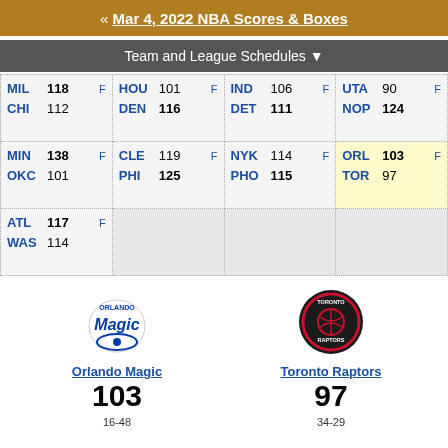« Mar 4, 2022 NBA Scores & Boxes
Team and League Schedules ▼
| MIL 118 F | HOU 101 F | IND 106 F | UTA 90 F |
| CHI 112 | DEN 116 | DET 111 | NOP 124 |
| MIN 138 F | CLE 119 F | NYK 114 F | ORL 103 F |
| OKC 101 | PHI 125 | PHO 115 | TOR 97 |
| ATL 117 F |  |  |  |
| WAS 114 |  |  |  |
[Figure (logo): Orlando Magic team logo]
[Figure (logo): Toronto Raptors team logo]
Orlando Magic
103
16-48
Toronto Raptors
97
34-29